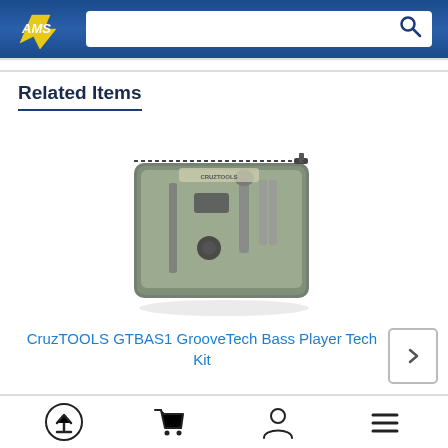[Figure (logo): AMS logo on blue gradient header background with search bar]
Related Items
[Figure (photo): CruzTOOLS GTBAS1 GrooveTech Bass Player Tech Kit in a zippered transparent case showing various tools inside]
CruzTOOLS GTBAS1 GrooveTech Bass Player Tech Kit
[Figure (infographic): Bottom navigation bar with upload/back-to-top icon, shopping cart icon, user/account icon, and hamburger menu icon]